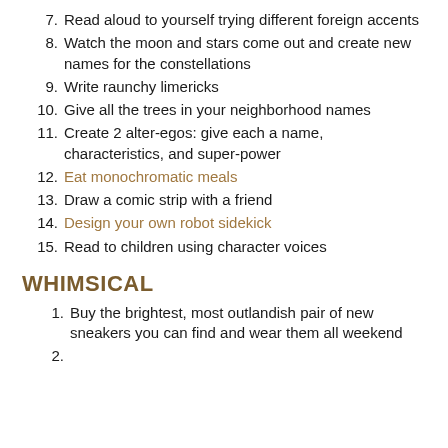7. Read aloud to yourself trying different foreign accents
8. Watch the moon and stars come out and create new names for the constellations
9. Write raunchy limericks
10. Give all the trees in your neighborhood names
11. Create 2 alter-egos: give each a name, characteristics, and super-power
12. Eat monochromatic meals
13. Draw a comic strip with a friend
14. Design your own robot sidekick
15. Read to children using character voices
WHIMSICAL
1. Buy the brightest, most outlandish pair of new sneakers you can find and wear them all weekend
2. ...